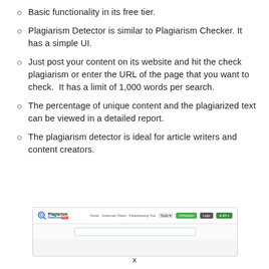Basic functionality in its free tier.
Plagiarism Detector is similar to Plagiarism Checker. It has a simple UI.
Just post your content on its website and hit the check plagiarism or enter the URL of the page that you want to check.  It has a limit of 1,000 words per search.
The percentage of unique content and the plagiarized text can be viewed in a detailed report.
The plagiarism detector is ideal for article writers and content creators.
[Figure (screenshot): Screenshot of Plagiarism Detector website showing the logo, navigation bar with Home, Grammar Check, Paraphrasing Tool, Tools, Premium, Login, and EN buttons, and a search input field.]
x